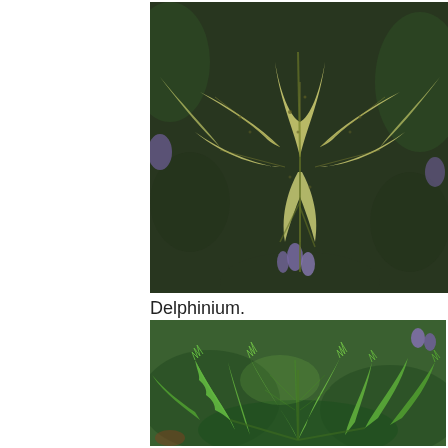[Figure (photo): Close-up photograph of Delphinium leaves, showing pale yellow-green to cream colored palmate leaves with dark spots, against a dark background with purple flowers visible]
Delphinium.
[Figure (photo): Close-up photograph of Delphinium leaves, showing bright green deeply lobed/serrated palmate leaves against a background of other green foliage]